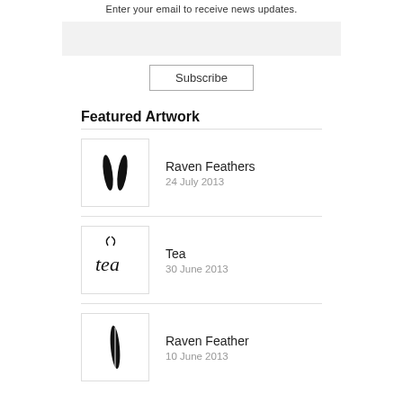Enter your email to receive news updates.
[Figure (other): Email input text field, light gray background]
[Figure (other): Subscribe button with border]
Featured Artwork
[Figure (illustration): Raven Feathers artwork thumbnail showing two black feathers]
Raven Feathers
24 July 2013
[Figure (illustration): Tea artwork thumbnail showing stylized tea text with steam]
Tea
30 June 2013
[Figure (illustration): Raven Feather artwork thumbnail showing single black feather]
Raven Feather
10 June 2013